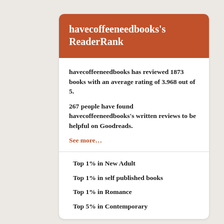havecoffeeneedbooks’s ReaderRank
havecoffeeneedbooks has reviewed 1873 books with an average rating of 3.968 out of 5.
267 people have found havecoffeeneedbooks’s written reviews to be helpful on Goodreads.
See more…
Top 1% in New Adult
Top 1% in self published books
Top 1% in Romance
Top 5% in Contemporary